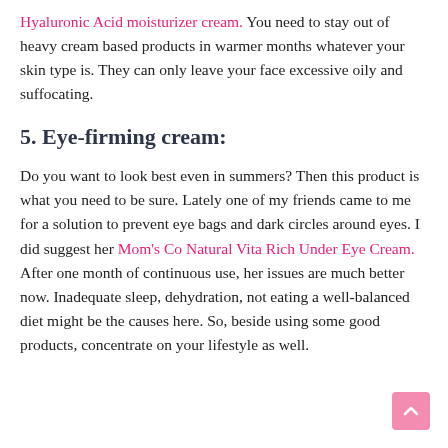Hyaluronic Acid moisturizer cream. You need to stay out of heavy cream based products in warmer months whatever your skin type is. They can only leave your face excessive oily and suffocating.
5. Eye-firming cream:
Do you want to look best even in summers? Then this product is what you need to be sure. Lately one of my friends came to me for a solution to prevent eye bags and dark circles around eyes. I did suggest her Mom's Co Natural Vita Rich Under Eye Cream. After one month of continuous use, her issues are much better now. Inadequate sleep, dehydration, not eating a well-balanced diet might be the causes here. So, beside using some good products, concentrate on your lifestyle as well.